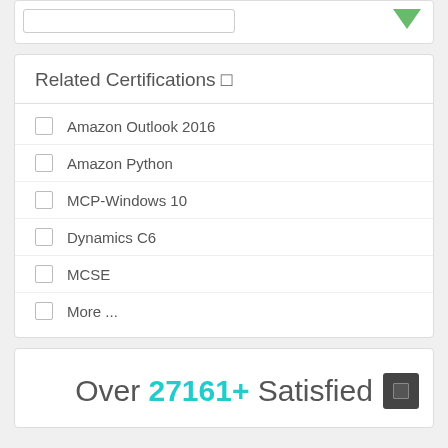Related Certifications □
Amazon Outlook 2016
Amazon Python
MCP-Windows 10
Dynamics C6
MCSE
More ...
Over 27161+ Satisfied